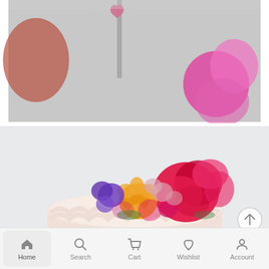[Figure (photo): Partial view of a cake with a heart-shaped topper and bright pink flowers on the right side, against a gray background. Top portion of the page.]
[Figure (photo): A white frosted cake topped with colorful fresh flowers including a large red rose, orange flower, purple flowers, and pink small blooms, against a light gray background.]
[Figure (other): Circular scroll-to-top button with an upward arrow icon, positioned bottom-right.]
Home   Search   Cart   Wishlist   Account